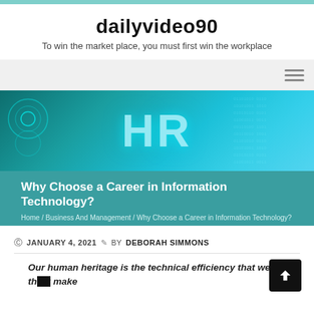dailyvideo90
To win the market place, you must first win the workplace
[Figure (screenshot): Website navigation bar with hamburger menu icon on the right, gray background]
[Figure (photo): HR technology banner image with large 'HR' text in blue/teal glowing letters against a digital technology background]
Why Choose a Career in Information Technology?
Home / Business And Management / Why Choose a Career in Information Technology?
© JANUARY 4, 2021  BY DEBORAH SIMMONS
Our human heritage is the technical efficiency that we think make